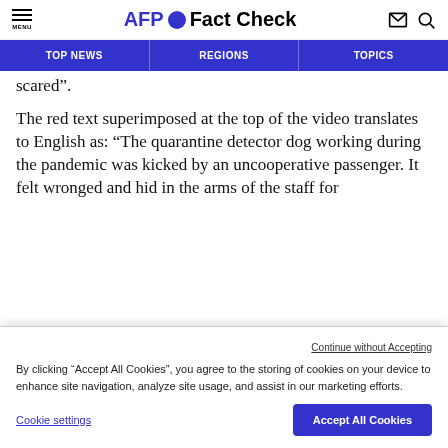AFP Fact Check
TOP NEWS | REGIONS | TOPICS
scared”.
The red text superimposed at the top of the video translates to English as: “The quarantine detector dog working during the pandemic was kicked by an uncooperative passenger. It felt wronged and hid in the arms of the staff for
Continue without Accepting
By clicking “Accept All Cookies”, you agree to the storing of cookies on your device to enhance site navigation, analyze site usage, and assist in our marketing efforts.